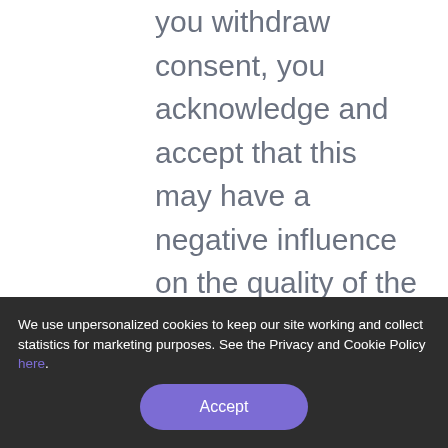you withdraw consent, you acknowledge and accept that this may have a negative influence on the quality of the Contractingcanada Site and/or Services. You further agree that Contractingcanada shall not be held liable with respect to any loss and/or damage to your Personal Data if you choose to withdraw consent.
We use unpersonalized cookies to keep our site working and collect statistics for marketing purposes. See the Privacy and Cookie Policy here.
lodge a complaint with the data protection a[uthority in y]our jurisdiction.